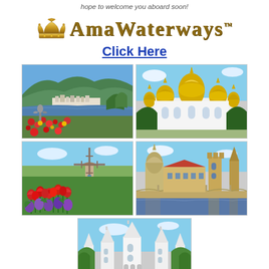hope to welcome you aboard soon!
[Figure (logo): AmaWaterways logo with golden crown and serif text]
Click Here
[Figure (photo): Rhine or Moselle River valley with statue in foreground and colorful flowers]
[Figure (photo): Russian Orthodox Cathedral with golden onion domes against blue sky]
[Figure (photo): Dutch tulip field with traditional windmill]
[Figure (photo): Prague cityscape with Charles Bridge and historic towers reflected in river]
[Figure (photo): Budapest Fisherman's Bastion with white towers and spring foliage]